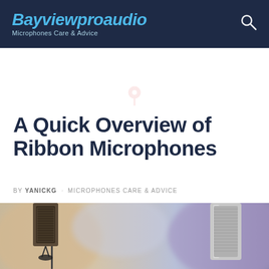Bayviewproaudio · Microphones Care & Advice
A Quick Overview of Ribbon Microphones
BY YANICKG · MICROPHONES CARE & ADVICE
[Figure (photo): Two ribbon/condenser microphones on stands in a studio setting with blurred colorful background]